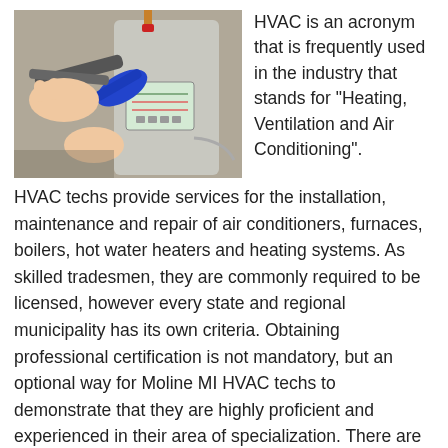[Figure (photo): A person using a wrench/pliers tool on a water heater or boiler unit with copper pipes and a blue valve handle visible.]
HVAC is an acronym that is frequently used in the industry that stands for “Heating, Ventilation and Air Conditioning”.
HVAC techs provide services for the installation, maintenance and repair of air conditioners, furnaces, boilers, hot water heaters and heating systems. As skilled tradesmen, they are commonly required to be licensed, however every state and regional municipality has its own criteria. Obtaining professional certification is not mandatory, but an optional way for Moline MI HVAC techs to demonstrate that they are highly proficient and experienced in their area of specialization. There are a number of recognized certifications within the field that are available. Following are a few of the significant ones.